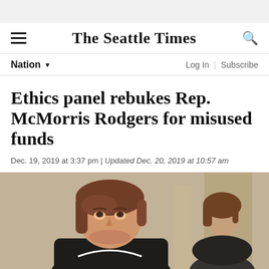The Seattle Times
Nation
Ethics panel rebukes Rep. McMorris Rodgers for misused funds
Dec. 19, 2019 at 3:37 pm | Updated Dec. 20, 2019 at 10:57 am
[Figure (photo): Photo of Rep. McMorris Rodgers and another woman in the background, appearing at what looks like a congressional hearing or formal setting.]